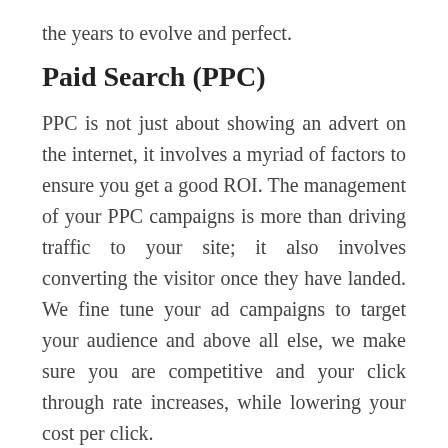the years to evolve and perfect.
Paid Search (PPC)
PPC is not just about showing an advert on the internet, it involves a myriad of factors to ensure you get a good ROI. The management of your PPC campaigns is more than driving traffic to your site; it also involves converting the visitor once they have landed. We fine tune your ad campaigns to target your audience and above all else, we make sure you are competitive and your click through rate increases, while lowering your cost per click.